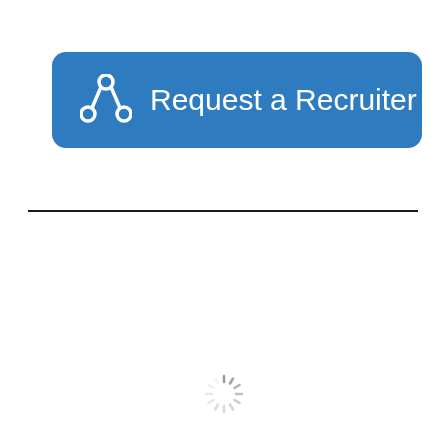[Figure (screenshot): A blue rounded rectangle button with a network/share icon on the left and the text 'Request a Recruiter' in white]
[Figure (other): A loading spinner (circular dashed wheel) indicating content is loading]